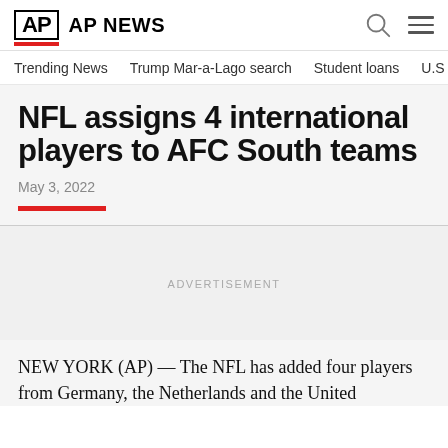AP NEWS
Trending News   Trump Mar-a-Lago search   Student loans   U.S.
NFL assigns 4 international players to AFC South teams
May 3, 2022
ADVERTISEMENT
NEW YORK (AP) — The NFL has added four players from Germany, the Netherlands and the United